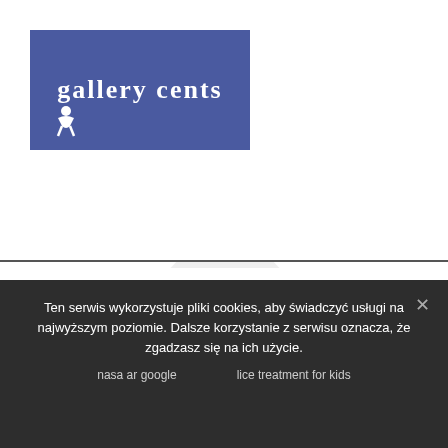[Figure (logo): Blue rectangle logo with white ornate text 'gallery cents' and accessibility icon]
Muzeum Regionalne im. S. Sankowskiego w Radomsku
97-500 Radomsko, ul. Narutowicza 1
tel./fax 44/683-56-51
e-mail: expression for equilibrium national income

Godziny otwarcia
poniedziałek - piątek: 8:00 - 16:00, niedziela: 10:00 - 18:00
Bilety: ulgowy 3zł / normalny 6zł
Top 14 Bordeaux
Znajdź nas:
Ten serwis wykorzystuje pliki cookies, aby świadczyć usługi na najwyższym poziomie. Dalsze korzystanie z serwisu oznacza, że zgadzasz się na ich użycie.
nasa ar google        lice treatment for kids